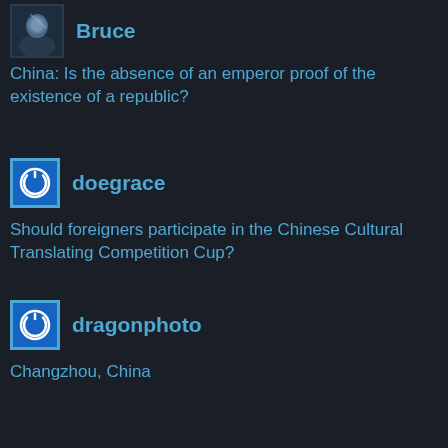[Figure (photo): Avatar photo of user Bruce - person with light effect]
Bruce
China: Is the absence of an emperor proof of the existence of a republic?
[Figure (illustration): Blue power icon avatar for doegrace]
doegrace
Should foreigners participate in the Chinese Cultural Translating Competition Cup?
[Figure (illustration): Blue power icon avatar for dragonphoto]
dragonphoto
Changzhou, China
[Figure (photo): Avatar photo of dutchinaman - grayscale portrait]
dutchinaman
Hong Kong: Pearl of China
[Figure (illustration): Blue power icon avatar for framingsounds]
framingsounds
Suzhou Studio (Chris H Lynn)
Advertisements
The Platform Where WordPress Works Best
[Figure (logo): Pressable logo with P icon]